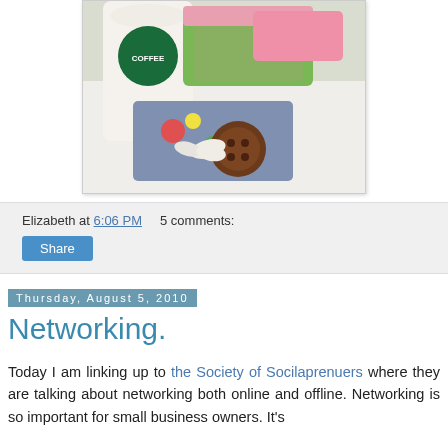[Figure (photo): Photo of colorful fabric pouches/accessories and a Starbucks coffee cup arranged on a white surface, featuring green ruffled fabric, floral prints, buttons, and a large brown button.]
Elizabeth at 6:06 PM    5 comments:
Share
Thursday, August 5, 2010
Networking.
Today I am linking up to the Society of Socilaprenuers where they are talking about networking both online and offline. Networking is so important for small business owners. It's